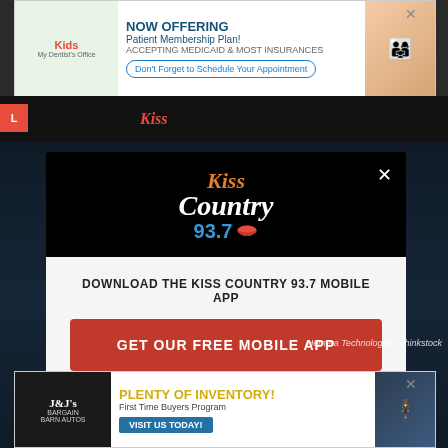[Figure (screenshot): Top banner advertisement for a dental/medical office: 'NOW OFFERING Patient Membership Plan! ACCEPTING MEDICAID & MOST INSURANCES. Don't Forget to Schedule Your Appointment']
[Figure (logo): Kiss Country 93.7 radio station logo with orange/white stylized text and red lips icon]
DOWNLOAD THE KISS COUNTRY 93.7 MOBILE APP
GET OUR FREE MOBILE APP
Also listen on: amazon alexa
Hemera Technologies, Thinkstock
[Figure (screenshot): Bottom banner advertisement for J&J's Bargain Barn Autos: 'PLENTY OF INVENTORY! First Time Buyers Program. VISIT US TODAY!']